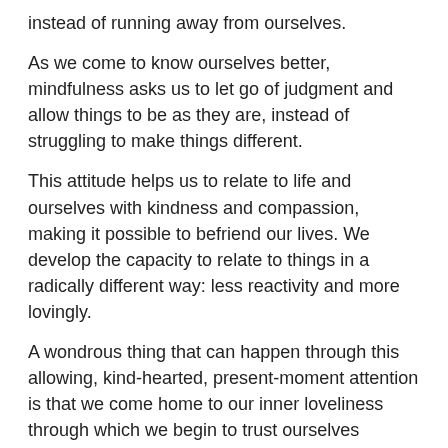instead of running away from ourselves.
As we come to know ourselves better, mindfulness asks us to let go of judgment and allow things to be as they are, instead of struggling to make things different.
This attitude helps us to relate to life and ourselves with kindness and compassion, making it possible to befriend our lives. We develop the capacity to relate to things in a radically different way: less reactivity and more lovingly.
A wondrous thing that can happen through this allowing, kind-hearted, present-moment attention is that we come home to our inner loveliness through which we begin to trust ourselves instead of relying on others.
Mindfulness and loving-kindness meditation can help us value ourselves after spending years thinking we are not okay. When we know our true nature of love we can truly feel at home.
4. What do you think is the key difference between generosity and unhealthy self-sacrifice?